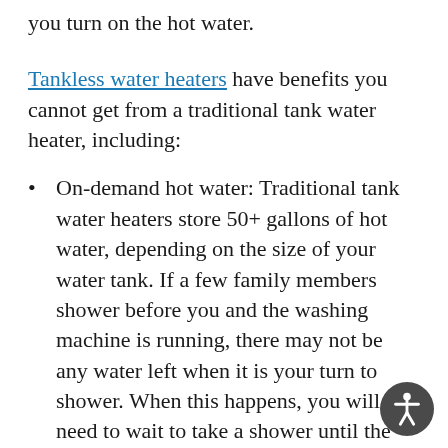you turn on the hot water.
Tankless water heaters have benefits you cannot get from a traditional tank water heater, including:
On-demand hot water: Traditional tank water heaters store 50+ gallons of hot water, depending on the size of your water tank. If a few family members shower before you and the washing machine is running, there may not be any water left when it is your turn to shower. When this happens, you will need to wait to take a shower until the water heater refills. Tankless water heaters provide hot water on demand, so you won't have to worry about running out, making tank units an excellent idea for big families